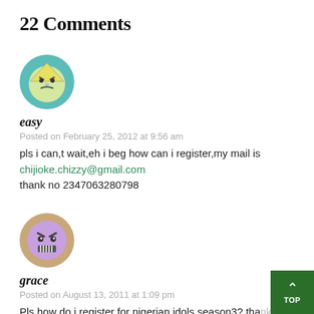22 Comments
[Figure (illustration): Round avatar icon with teal/green background and a yellow triangle face with angry expression (cartoon character)]
easy
Posted on February 25, 2012 at 9:56 am
pls i can,t wait,eh i beg how can i register,my mail is chijioke.chizzy@gmail.com thank no 2347063280798
[Figure (illustration): Round avatar icon with beige/brown background and a purple angry face with teeth showing (cartoon character)]
grace
Posted on August 13, 2011 at 1:09 pm
Pls how do i register for nigerian idols season3? tha...